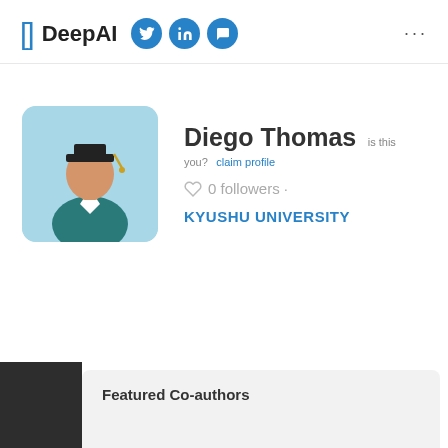DeepAI
[Figure (photo): DeepAI profile page for Diego Thomas showing avatar of graduation student, 0 followers, Kyushu University affiliation, and Featured Co-authors section]
Diego Thomas
is this you? claim profile
0 followers ·
KYUSHU UNIVERSITY
Featured Co-authors